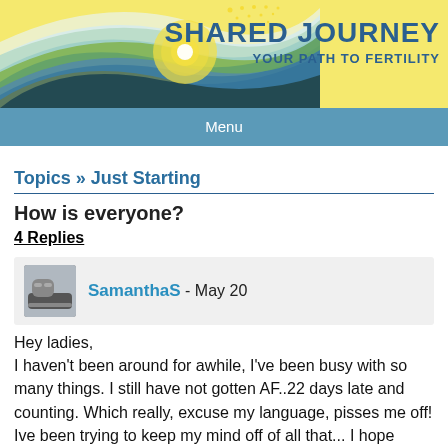[Figure (logo): Shared Journey - Your Path To Fertility banner with decorative wave shapes in blue, green, yellow and white, and a circular sun/dot element on a yellow background]
Menu
Topics » Just Starting
How is everyone?
4 Replies
SamanthaS - May 20
Hey ladies,
I haven't been around for awhile, I've been busy with so many things. I still have not gotten AF..22 days late and counting. Which really, excuse my language, pisses me off! Ive been trying to keep my mind off of all that... I hope